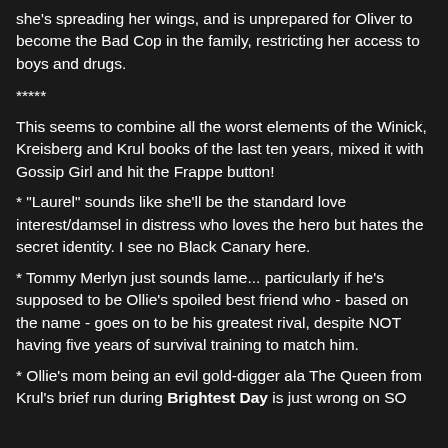she's spreading her wings, and is unprepared for Oliver to become the Bad Cop in the family, restricting her access to boys and drugs.
*****
This seems to combine all the worst elements of the Winick, Kreisberg and Krul books of the last ten years, mixed it with Gossip Girl and hit the Frappe button!
* "Laurel" sounds like she'll be the standard love interest/damsel in distress who loves the hero but hates the secret identity. I see no Black Canary here.
* Tommy Merlyn just sounds lame... particularly if he's supposed to be Ollie's spoiled best friend who - based on the name - goes on to be his greatest rival, despite NOT having five years of survival training to match him.
* Ollie's mom being an evil gold-digger ala The Queen from Krul's brief run during Brightest Day is just wrong on SO